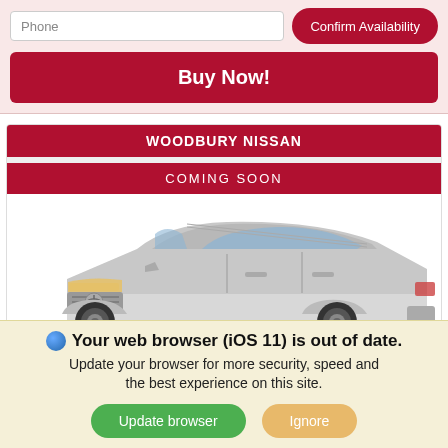Phone
Confirm Availability
Buy Now!
WOODBURY NISSAN
COMING SOON
[Figure (photo): Nissan SUV (white/silver crossover) shown in 3/4 front view on white background]
Your web browser (iOS 11) is out of date. Update your browser for more security, speed and the best experience on this site.
Update browser
Ignore